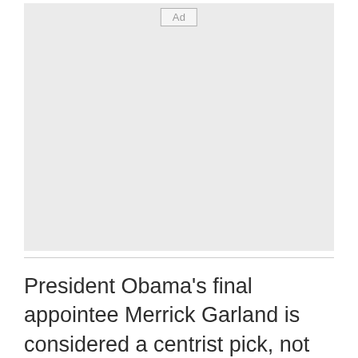[Figure (other): Advertisement placeholder box with 'Ad' label in top center]
President Obama's final appointee Merrick Garland is considered a centrist pick, not very liberal and more conservative on issues of